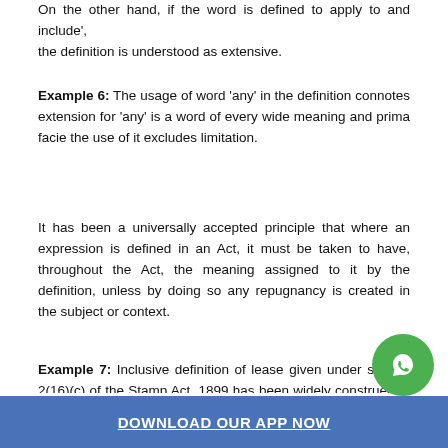On the other hand, if the word is defined to apply to and include', the definition is understood as extensive.
Example 6: The usage of word 'any' in the definition connotes extension for 'any' is a word of every wide meaning and prima facie the use of it excludes limitation.
It has been a universally accepted principle that where an expression is defined in an Act, it must be taken to have, throughout the Act, the meaning assigned to it by the definition, unless by doing so any repugnancy is created in the subject or context.
Example 7: Inclusive definition of lease given under section 2(16)(c) of the Stamp Act, 1899 has been widely construed to cover transaction for the purpose of Stamp Act which not amount to a lease under section 105 of the Tran...
DOWNLOAD OUR APP NOW